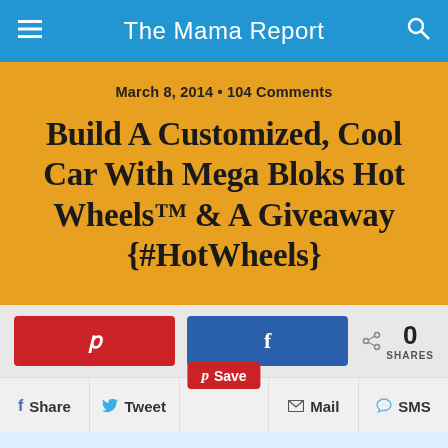The Mama Report
March 8, 2014 • 104 Comments
Build A Customized, Cool Car With Mega Bloks Hot Wheels™ & A Giveaway {#HotWheels}
[Figure (screenshot): Social share buttons: Pinterest (red), Facebook (blue), share count showing 0 SHARES]
[Figure (screenshot): Social sharing row with Share, Tweet, Save (Pinterest), Mail, and SMS buttons]